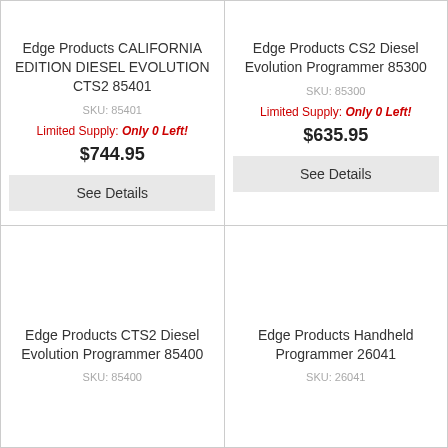Edge Products CALIFORNIA EDITION DIESEL EVOLUTION CTS2 85401
SKU: 85401
Limited Supply: Only 0 Left!
$744.95
Edge Products CS2 Diesel Evolution Programmer 85300
SKU: 85300
Limited Supply: Only 0 Left!
$635.95
Edge Products CTS2 Diesel Evolution Programmer 85400
SKU: 85400
Edge Products Handheld Programmer 26041
SKU: 26041